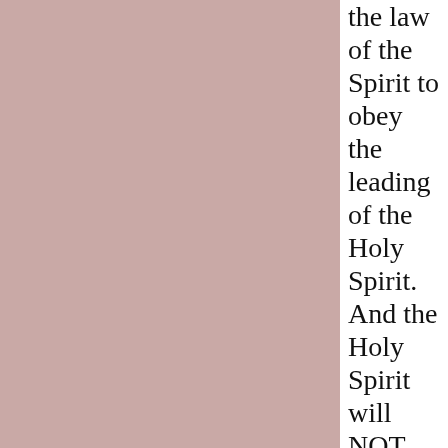the law of the Spirit to obey the leading of the Holy Spirit. And the Holy Spirit will NOT lead us to obey what Jesus ABOLISHED on the cross, according to